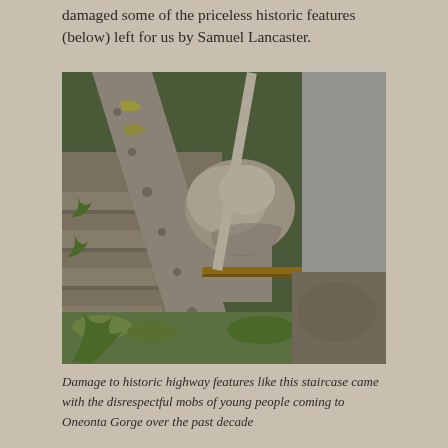damaged some of the priceless historic features (below) left for us by Samuel Lancaster.
[Figure (photo): Close-up photograph of a historic stone staircase railing at Oneonta Gorge, showing a large rounded granite capstone atop a stone post with a metal pipe railing, mossy stone steps visible in background with green vegetation.]
Damage to historic highway features like this staircase came with the disrespectful mobs of young people coming to Oneonta Gorge over the past decade